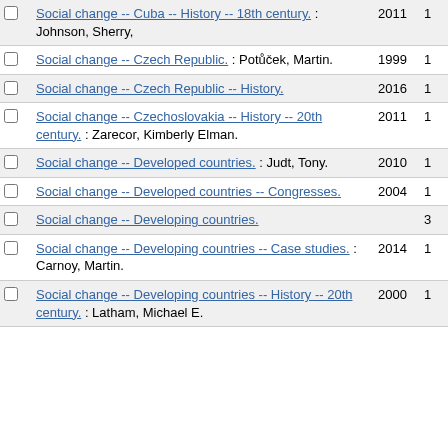|  | Subject | Year | Count |
| --- | --- | --- | --- |
| ☐ | Social change -- Cuba -- History -- 18th century. : Johnson, Sherry, | 2011 | 1 |
| ☐ | Social change -- Czech Republic. : Potůček, Martin. | 1999 | 1 |
| ☐ | Social change -- Czech Republic -- History. | 2016 | 1 |
| ☐ | Social change -- Czechoslovakia -- History -- 20th century. : Zarecor, Kimberly Elman. | 2011 | 1 |
| ☐ | Social change -- Developed countries. : Judt, Tony. | 2010 | 1 |
| ☐ | Social change -- Developed countries -- Congresses. | 2004 | 1 |
| ☐ | Social change -- Developing countries. |  | 3 |
| ☐ | Social change -- Developing countries -- Case studies. : Carnoy, Martin. | 2014 | 1 |
| ☐ | Social change -- Developing countries -- History -- 20th century. : Latham, Michael E. | 2000 | 1 |